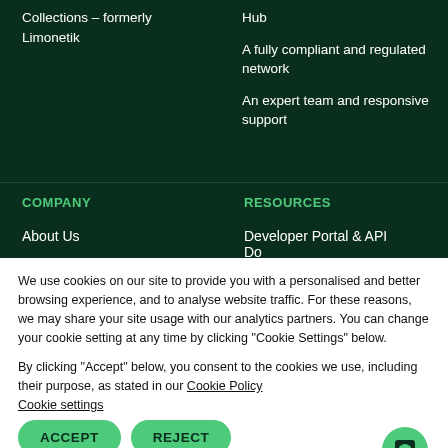Collections – formerly Limonetik
Hub
A fully compliant and regulated network
An expert team and responsive support
COMPANY
RESOURCES
About Us
Developer Portal & API Documentation
We use cookies on our site to provide you with a personalised and better browsing experience, and to analyse website traffic. For these reasons, we may share your site usage with our analytics partners. You can change your cookie setting at any time by clicking “Cookie Settings” below.
By clicking “Accept” below, you consent to the cookies we use, including their purpose, as stated in our Cookie Policy
Cookie settings
ACCEPT
REJECT